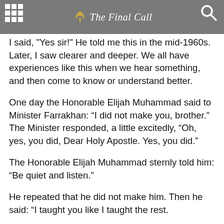The Final Call
I said, "Yes sir!" He told me this in the mid-1960s. Later, I saw clearer and deeper. We all have experiences like this when we hear something, and then come to know or understand better.
One day the Honorable Elijah Muhammad said to Minister Farrakhan: “I did not make you, brother.” The Minister responded, a little excitedly, “Oh, yes, you did, Dear Holy Apostle. Yes, you did.”
The Honorable Elijah Muhammad sternly told him: “Be quiet and listen.”
He repeated that he did not make him. Then he said: “I taught you like I taught the rest.
“But only Allah made you able to put the teachings together, in the unique way that you have of putting the teachings together. “Allah prepared you for me.”